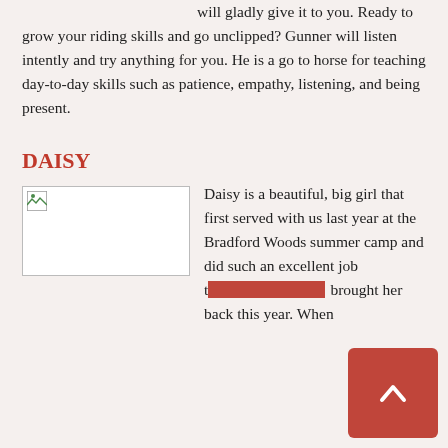massage perfectly smooth. Gunner will gladly give it to you. Ready to grow your riding skills and go unclipped? Gunner will listen intently and try anything for you. He is a go to horse for teaching day-to-day skills such as patience, empathy, listening, and being present.
DAISY
[Figure (photo): Broken image placeholder for Daisy the horse]
Daisy is a beautiful, big girl that first served with us last year at the Bradford Woods summer camp and did such an excellent job that we brought her back this year. When